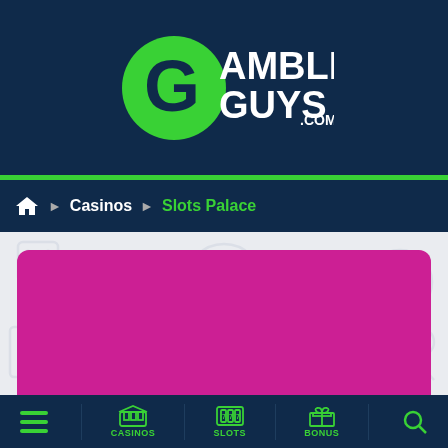[Figure (logo): GambleGuys.com logo in green on dark navy background]
Home ▶ Casinos ▶ Slots Palace
[Figure (illustration): Light gray casino-themed background icons on light gray background with a large magenta/pink rounded rectangle card placeholder]
Menu | CASINOS | SLOTS | BONUS | Search